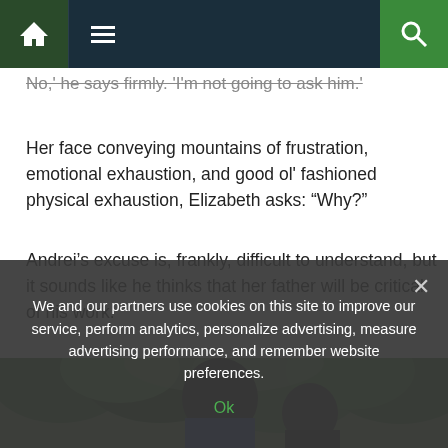Navigation bar with home, menu, and search icons
No,' he says firmly. 'I'm not going to ask him.'
Her face conveying mountains of frustration, emotional exhaustion, and good ol' fashioned physical exhaustion, Elizabeth asks: “Why?”
Andrei’s excuse is, frankly, difficult to understand, but it sounds like he thinks that her father will be critical of his work.
[Figure (photo): A couple outdoors, the man leaning toward a woman, with green trees and foliage in the background.]
We and our partners use cookies on this site to improve our service, perform analytics, personalize advertising, measure advertising performance, and remember website preferences.